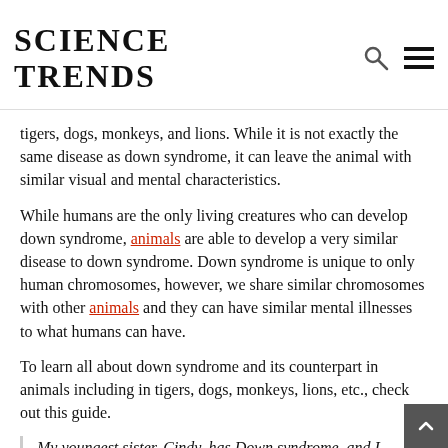SCIENCE TRENDS
tigers, dogs, monkeys, and lions. While it is not exactly the same disease as down syndrome, it can leave the animal with similar visual and mental characteristics.
While humans are the only living creatures who can develop down syndrome, animals are able to develop a very similar disease to down syndrome. Down syndrome is unique to only human chromosomes, however, we share similar chromosomes with other animals and they can have similar mental illnesses to what humans can have.
To learn all about down syndrome and its counterpart in animals including in tigers, dogs, monkeys, lions, etc., check out this guide.
My youngest sister, Cindy, has Down syndrome, and I remember my mother spending hours and hours with h teaching her to tie her shoelaces on her own, drilling multiplication tables with Cindy, practicing piano every day